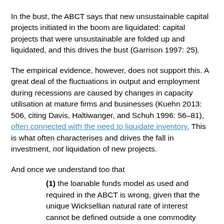In the bust, the ABCT says that new unsustainable capital projects initiated in the boom are liquidated: capital projects that were unsustainable are folded up and liquidated, and this drives the bust (Garrison 1997: 25).
The empirical evidence, however, does not support this. A great deal of the fluctuations in output and employment during recessions are caused by changes in capacity utilisation at mature firms and businesses (Kuehn 2013: 506, citing Davis, Haltiwanger, and Schuh 1996: 56–81), often connected with the need to liquidate inventory. This is what often characterises and drives the fall in investment, not liquidation of new projects.
And once we understand too that
(1) the loanable funds model as used and required in the ABCT is wrong, given that the unique Wicksellian natural rate of interest cannot be defined outside a one commodity world, and
(2) interest rates do not provide the...